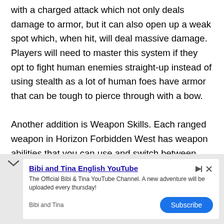with a charged attack which not only deals damage to armor, but it can also open up a weak spot which, when hit, will deal massive damage. Players will need to master this system if they opt to fight human enemies straight-up instead of using stealth as a lot of human foes have armor that can be tough to pierce through with a bow.

Another addition is Weapon Skills. Each ranged weapon in Horizon Forbidden West has weapon abilities that you can use and switch between. For
[Figure (infographic): Advertisement banner for 'Bibi and Tina English YouTube' channel with subscribe button. Contains channel title, description 'The Official Bibi & Tina YouTube Channel. A new adventure will be uploaded every thursday!', channel name 'Bibi and Tina', and a blue Subscribe button.]